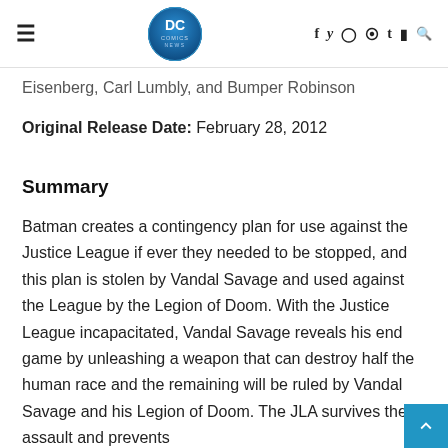DC Comics News — hamburger menu, logo, social icons (f, twitter, instagram, pinterest, t, youtube, search)
Eisenberg, Carl Lumbly, and Bumper Robinson
Original Release Date: February 28, 2012
Summary
Batman creates a contingency plan for use against the Justice League if ever they needed to be stopped, and this plan is stolen by Vandal Savage and used against the League by the Legion of Doom. With the Justice League incapacitated, Vandal Savage reveals his end game by unleashing a weapon that can destroy half the human race and the remaining will be ruled by Vandal Savage and his Legion of Doom. The JLA survives the assault and prevents